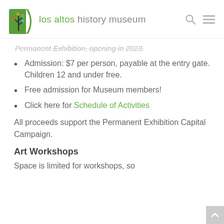los altos history museum
Permanent Exhibition, opening in 2023.
Admission: $7 per person, payable at the entry gate. Children 12 and under free.
Free admission for Museum members!
Click here for Schedule of Activities
All proceeds support the Permanent Exhibition Capital Campaign.
Art Workshops
Space is limited for workshops, so